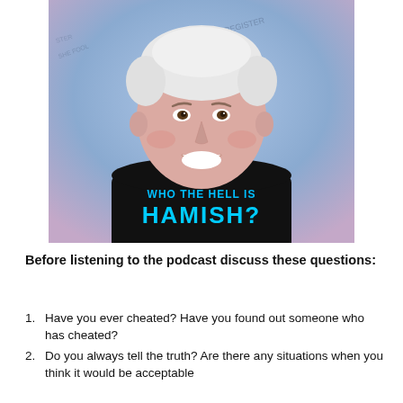[Figure (illustration): Illustrated portrait of a smiling man with white hair, pink skin tone, wearing a black t-shirt that reads 'WHO THE HELL IS HAMISH?' in cyan/light blue text. Background is a blue-purple watercolor wash with faint handwritten words.]
Before listening to the podcast discuss these questions:
Have you ever cheated? Have you found out someone who has cheated?
Do you always tell the truth? Are there any situations when you think it would be acceptable to lie?